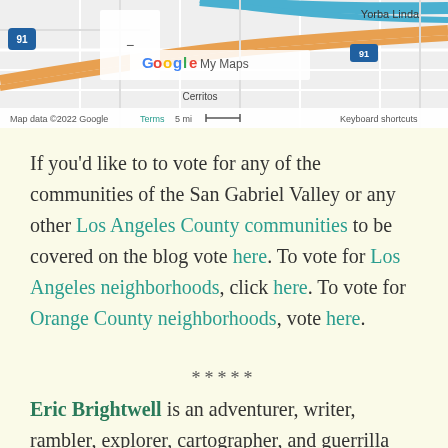[Figure (map): Google My Maps screenshot showing part of Southern California including Cerritos, Yorba Linda, and route 91. Map data ©2022 Google with Terms link, scale 5 mi, and Keyboard shortcuts.]
If you'd like to to vote for any of the communities of the San Gabriel Valley or any other Los Angeles County communities to be covered on the blog vote here. To vote for Los Angeles neighborhoods, click here. To vote for Orange County neighborhoods, vote here.
*****
Eric Brightwell is an adventurer, writer, rambler, explorer, cartographer, and guerrilla gardener who is always seeking writing, speaking, traveling, and art opportunities. He is not interested in writing advertorials,